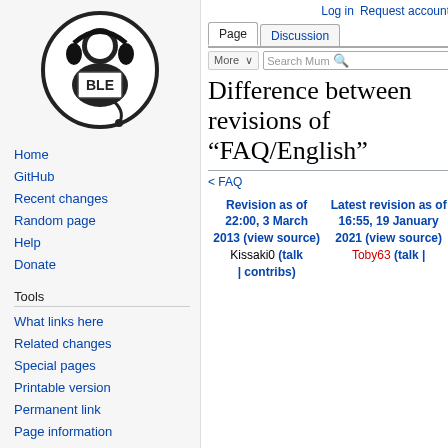[Figure (logo): Mumble wiki logo: circular black and white icon with headphones and 'BLE' text, person figure on top]
Home
GitHub
Recent changes
Random page
Help
Donate
Tools
What links here
Related changes
Special pages
Printable version
Permanent link
Page information
Log in  Request account
Difference between revisions of "FAQ/English"
< FAQ
| Revision as of 22:00, 3 March 2013 (view source) | Latest revision as of 16:55, 19 January 2021 (view source) |
| --- | --- |
| Kissaki0 (talk | contribs) | Toby63 (talk | |